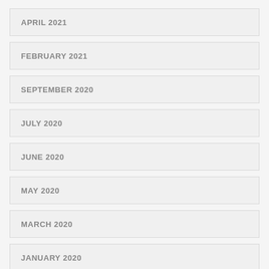APRIL 2021
FEBRUARY 2021
SEPTEMBER 2020
JULY 2020
JUNE 2020
MAY 2020
MARCH 2020
JANUARY 2020
JULY 2019